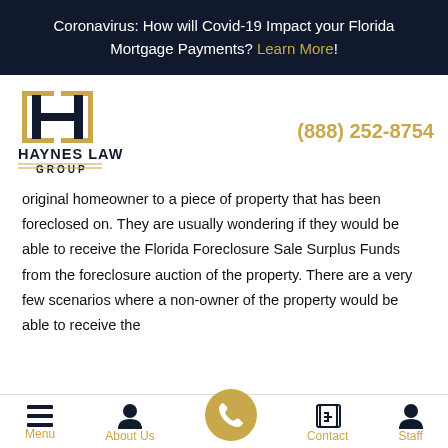Coronavirus: How will Covid-19 Impact your Florida Mortgage Payments? Learn More!
[Figure (logo): Haynes Law Group logo with stylized H in gold frame and text HAYNES LAW GROUP]
(888) 252-8754
original homeowner to a piece of property that has been foreclosed on. They are usually wondering if they would be able to receive the Florida Foreclosure Sale Surplus Funds from the foreclosure auction of the property. There are a very few scenarios where a non-owner of the property would be able to receive the
Menu | About Us | [phone] | Contact | Staff